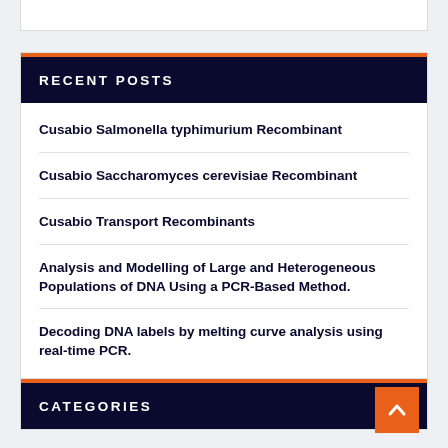RECENT POSTS
Cusabio Salmonella typhimurium Recombinant
Cusabio Saccharomyces cerevisiae Recombinant
Cusabio Transport Recombinants
Analysis and Modelling of Large and Heterogeneous Populations of DNA Using a PCR-Based Method.
Decoding DNA labels by melting curve analysis using real-time PCR.
CATEGORIES